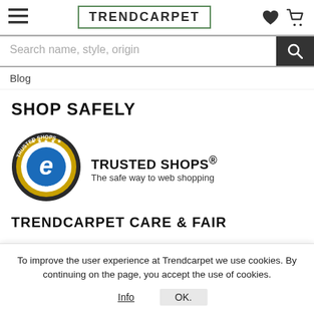TRENDCARPET
Search name, style, origin
Blog
SHOP SAFELY
[Figure (logo): Trusted Shops guarantee badge — circular seal with 'e' logo, text 'TRUSTED SHOPS GUARANTEE' around border]
TRUSTED SHOPS® The safe way to web shopping
TRENDCARPET CARE & FAIR
To improve the user experience at Trendcarpet we use cookies. By continuing on the page, you accept the use of cookies.